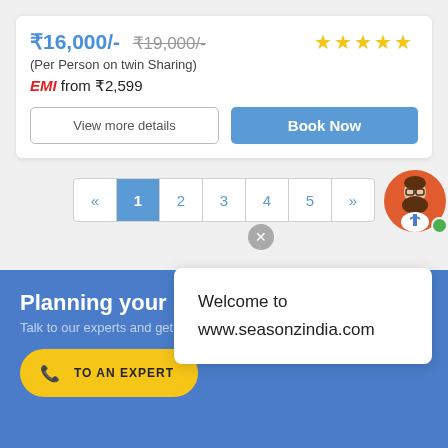₹16,000/- ₹19,000/-
(Per Person on twin Sharing)
EMI from ₹2,599
View more details
Book Now
« 1 2 3 4 5 »
Planning your next
Talk to our experts and get detailed plan for your next trip
TO AN EXPERT
Welcome to www.seasonzindia.com